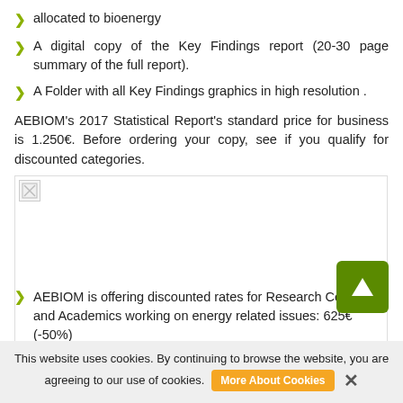allocated to bioenergy
A digital copy of the Key Findings report (20-30 page summary of the full report).
A Folder with all Key Findings graphics in high resolution .
AEBIOM's 2017 Statistical Report's standard price for business is 1.250€. Before ordering your copy, see if you qualify for discounted categories.
[Figure (other): Broken/unloaded image placeholder]
AEBIOM is offering discounted rates for Research Centers and Academics working on energy related issues: 625€ (-50%)
This website uses cookies. By continuing to browse the website, you are agreeing to our use of cookies.